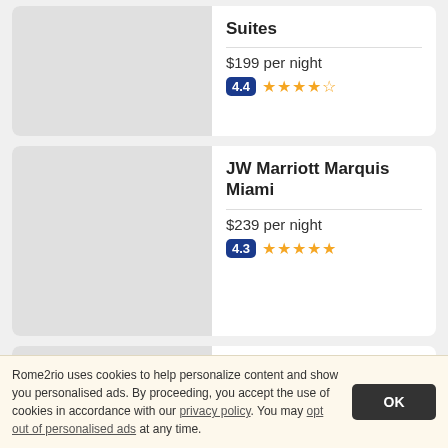Suites
$199 per night
4.4 ★★★★☆
JW Marriott Marquis Miami
$239 per night
4.3 ★★★★★
Miami Vacation Rentals - Brickell
$141 per night
Rome2rio uses cookies to help personalize content and show you personalised ads. By proceeding, you accept the use of cookies in accordance with our privacy policy. You may opt out of personalised ads at any time.